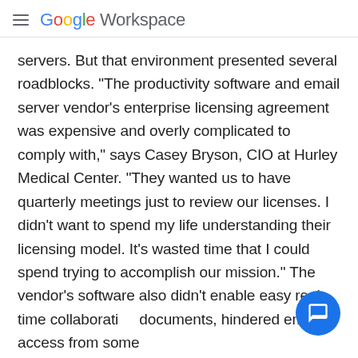Google Workspace
servers. But that environment presented several roadblocks. "The productivity software and email server vendor's enterprise licensing agreement was expensive and overly complicated to comply with," says Casey Bryson, CIO at Hurley Medical Center. "They wanted us to have quarterly meetings just to review our licenses. I didn't want to spend my life understanding their licensing model. It's wasted time that I could spend trying to accomplish our mission." The vendor's software also didn't enable easy real-time collaborati…on documents, hindered email access from some